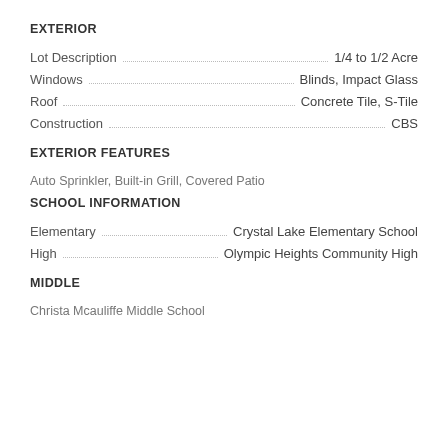EXTERIOR
Lot Description · 1/4 to 1/2 Acre
Windows · Blinds, Impact Glass
Roof · Concrete Tile, S-Tile
Construction · CBS
EXTERIOR FEATURES
Auto Sprinkler, Built-in Grill, Covered Patio
SCHOOL INFORMATION
Elementary · Crystal Lake Elementary School
High · Olympic Heights Community High
MIDDLE
Christa Mcauliffe Middle School